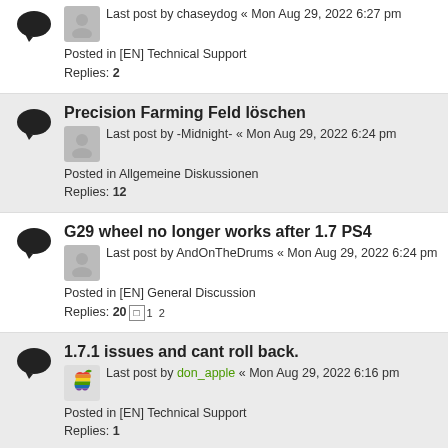Last post by chaseydog « Mon Aug 29, 2022 6:27 pm
Posted in [EN] Technical Support
Replies: 2
Precision Farming Feld löschen
Last post by -Midnight- « Mon Aug 29, 2022 6:24 pm
Posted in Allgemeine Diskussionen
Replies: 12
G29 wheel no longer works after 1.7 PS4
Last post by AndOnTheDrums « Mon Aug 29, 2022 6:24 pm
Posted in [EN] General Discussion
Replies: 20
1.7.1 issues and cant roll back.
Last post by don_apple « Mon Aug 29, 2022 6:16 pm
Posted in [EN] Technical Support
Replies: 1